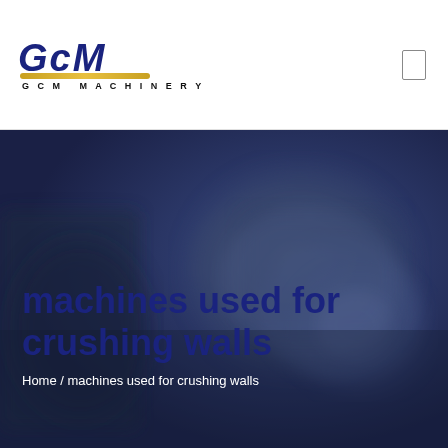GCM GCM MACHINERY
machines used for crushing walls
Home / machines used for crushing walls